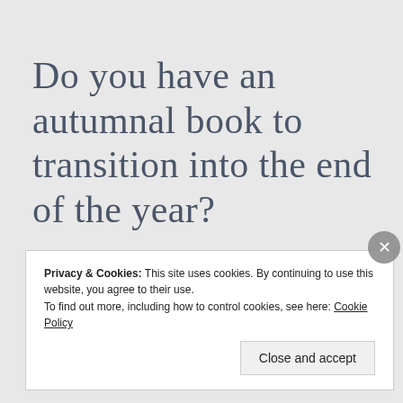Do you have an autumnal book to transition into the end of the year?
I had to google autumnal. Had no idea what it was.
Don’t have a book for it either I don’t think. Still
Privacy & Cookies: This site uses cookies. By continuing to use this website, you agree to their use.
To find out more, including how to control cookies, see here: Cookie Policy